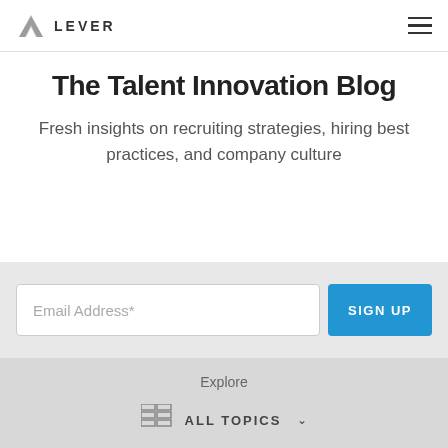LEVER
The Talent Innovation Blog
Fresh insights on recruiting strategies, hiring best practices, and company culture
Email Address*
SIGN UP
Explore
ALL TOPICS